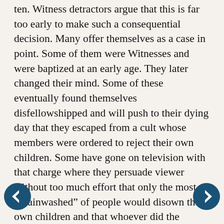ten. Witness detractors argue that this is far too early to make such a consequential decision. Many offer themselves as a case in point. Some of them were Witnesses and were baptized at an early age. They later changed their mind. Some of these eventually found themselves disfellowshipped and will push to their dying day that they escaped from a cult whose members were ordered to reject their own children. Some have gone on television with that charge where they persuade viewer without too much effort that only the most “brainwashed” of people would disown their own children and that whoever did the “brainwashing” must be punished.
It is an example of “truth” that is not “the whole truth and nothing but the truth.” They are not children. In Witness literature the